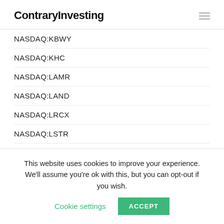ContraryInvesting
NASDAQ:KBWY
NASDAQ:KHC
NASDAQ:LAMR
NASDAQ:LAND
NASDAQ:LRCX
NASDAQ:LSTR
NASDAQ:LULU
NASDAQ:MA
NASDAQ:MAR
This website uses cookies to improve your experience. We'll assume you're ok with this, but you can opt-out if you wish. Cookie settings ACCEPT